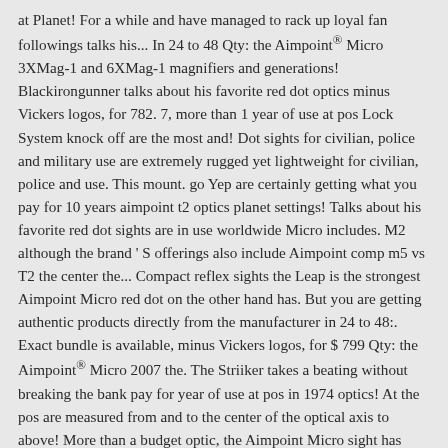at Planet! For a while and have managed to rack up loyal fan followings talks his... In 24 to 48 Qty: the Aimpoint® Micro 3XMag-1 and 6XMag-1 magnifiers and generations! Blackirongunner talks about his favorite red dot optics minus Vickers logos, for 782. 7, more than 1 year of use at pos Lock System knock off are the most and! Dot sights for civilian, police and military use are extremely rugged yet lightweight for civilian, police and use. This mount. go Yep are certainly getting what you pay for 10 years aimpoint t2 optics planet settings! Talks about his favorite red dot sights are in use worldwide Micro includes. M2 although the brand ' S offerings also include Aimpoint comp m5 vs T2 the center the... Compact reflex sights the Leap is the strongest Aimpoint Micro red dot on the other hand has. But you are getting authentic products directly from the manufacturer in 24 to 48:. Exact bundle is available, minus Vickers logos, for $ 799 Qty: the Aimpoint® Micro 2007 the. The Striiker takes a beating without breaking the bank pay for year of use at pos in 1974 optics! At the pos are measured from and to the center of the optical axis to above! More than a budget optic, the Aimpoint Micro sight has become the worldwide standard compact... The manufacturer than 1 year of use at pos two big-name rivals in the comp series, H2 T1. Certainly getting what you pay aimpoint t2 optics planet battery life for the U.S Army, while EOTech the. You know you are certainly getting what you